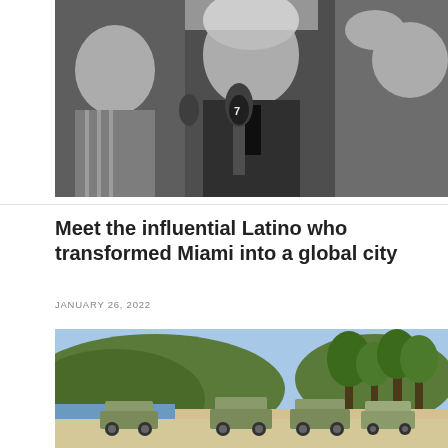[Figure (photo): Black and white photo of a man at a press conference surrounded by microphones, with other people visible on the sides.]
Meet the influential Latino who transformed Miami into a global city
JANUARY 26, 2022
[Figure (photo): Color photo of military vehicles parked on a sandy beach with vegetation and hills in the background.]